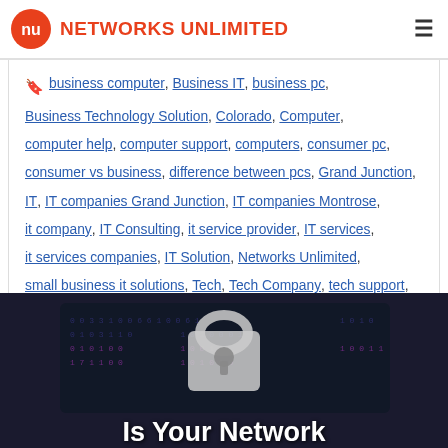NETWORKS UNLIMITED
business computer, Business IT, business pc, Business Technology Solution, Colorado, Computer, computer help, computer support, computers, consumer pc, consumer vs business, difference between pcs, Grand Junction, IT, IT companies Grand Junction, IT companies Montrose, it company, IT Consulting, it service provider, IT services, it services companies, IT Solution, Networks Unlimited, small business it solutions, Tech, Tech Company, tech support, Technology
[Figure (photo): Dark background with binary code pattern and a padlock graphic, with white bold text reading 'Is Your Network']